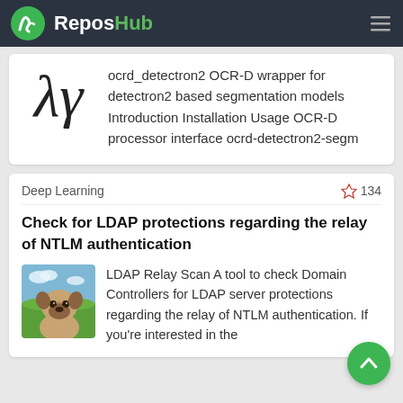ReposHub
[Figure (screenshot): Lambda symbol (λγ) serving as repository icon]
ocrd_detectron2 OCR-D wrapper for detectron2 based segmentation models Introduction Installation Usage OCR-D processor interface ocrd-detectron2-segm
Deep Learning
134
Check for LDAP protections regarding the relay of NTLM authentication
[Figure (photo): Photo of a pug dog on a green lawn with blue sky background]
LDAP Relay Scan A tool to check Domain Controllers for LDAP server protections regarding the relay of NTLM authentication. If you're interested in the